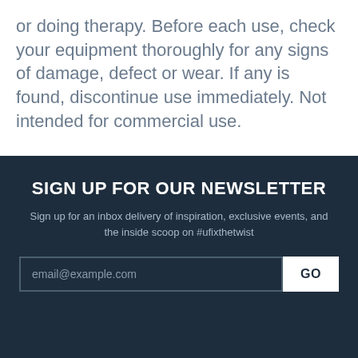or doing therapy. Before each use, check your equipment thoroughly for any signs of damage, defect or wear. If any is found, discontinue use immediately. Not intended for commercial use.
SIGN UP FOR OUR NEWSLETTER
Sign up for an inbox delivery of inspiration, exclusive events, and the inside scoop on #ufixthetwist